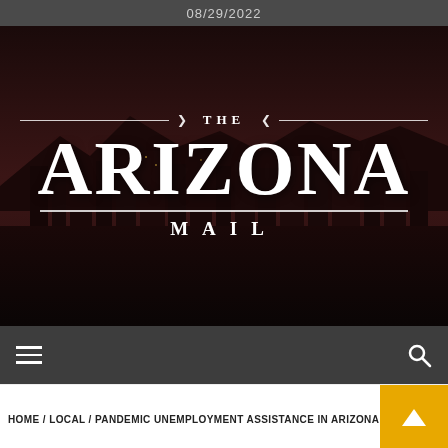08/29/2022
[Figure (photo): The Arizona Mail newspaper header/logo over a dark cityscape photo of Phoenix skyline at night, with decorative horizontal lines and arrow ornaments flanking 'THE' above the large 'ARIZONA' text and 'MAIL' below.]
HOME / LOCAL / PANDEMIC UNEMPLOYMENT ASSISTANCE IN ARIZONA